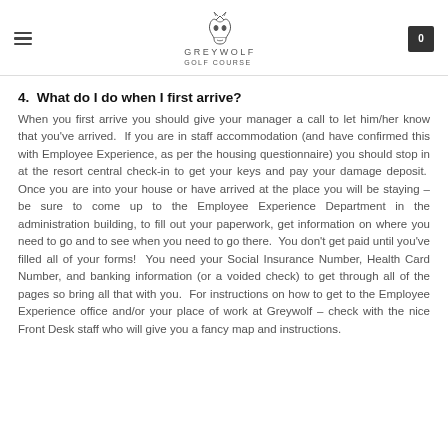Greywolf Golf Course
4.  What do I do when I first arrive?
When you first arrive you should give your manager a call to let him/her know that you've arrived.  If you are in staff accommodation (and have confirmed this with Employee Experience, as per the housing questionnaire) you should stop in at the resort central check-in to get your keys and pay your damage deposit.  Once you are into your house or have arrived at the place you will be staying – be sure to come up to the Employee Experience Department in the administration building, to fill out your paperwork, get information on where you need to go and to see when you need to go there.  You don't get paid until you've filled all of your forms!  You need your Social Insurance Number, Health Card Number, and banking information (or a voided check) to get through all of the pages so bring all that with you.  For instructions on how to get to the Employee Experience office and/or your place of work at Greywolf – check with the nice Front Desk staff who will give you a fancy map and instructions.